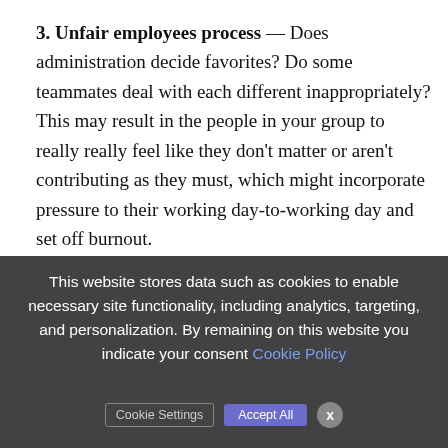3. Unfair employees process — Does administration decide favorites? Do some teammates deal with each different inappropriately? This may result in the people in your group to really really feel like they don't matter or aren't contributing as they must, which might incorporate pressure to their working day-to-working day and set off burnout.
4. Poor do the job-life concord — For a
We use cookies on our website to give you the most relevant experience by remembering your preferences and repeat visits. By clicking "Accept All", you consent to the use of ALL the cookies. However, you may visit "Cookie Settings" to provide a controlled consent.
This website stores data such as cookies to enable necessary site functionality, including analytics, targeting, and personalization. By remaining on this website you indicate your consent Cookie Policy